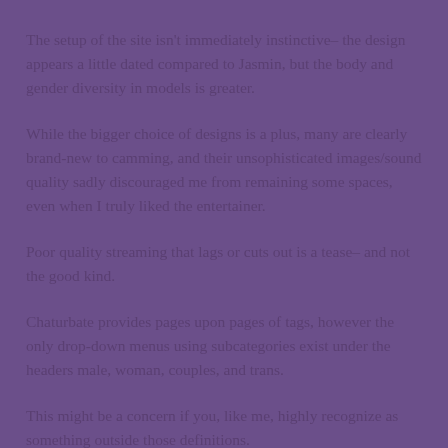The setup of the site isn't immediately instinctive– the design appears a little dated compared to Jasmin, but the body and gender diversity in models is greater.
While the bigger choice of designs is a plus, many are clearly brand-new to camming, and their unsophisticated images/sound quality sadly discouraged me from remaining some spaces, even when I truly liked the entertainer.
Poor quality streaming that lags or cuts out is a tease– and not the good kind.
Chaturbate provides pages upon pages of tags, however the only drop-down menus using subcategories exist under the headers male, woman, couples, and trans.
This might be a concern if you, like me, highly recognize as something outside those definitions.